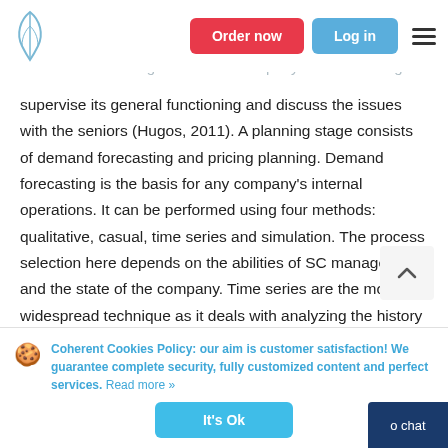Order now | Log in
which SC will be organized for a company and the managers supervise its general functioning and discuss the issues with the seniors (Hugos, 2011). A planning stage consists of demand forecasting and pricing planning. Demand forecasting is the basis for any company's internal operations. It can be performed using four methods: qualitative, casual, time series and simulation. The process selection here depends on the abilities of SC managers and the state of the company. Time series are the most widespread technique as it deals with analyzing the history of demand-supply patterns of the company's goods. Planning department specialists, as well as store managers as their assistants, perform these functions (Hugos, 2011).
Coherent Cookies Policy: our aim is customer satisfaction! We guarantee complete security, fully customized content and perfect services. Read more »